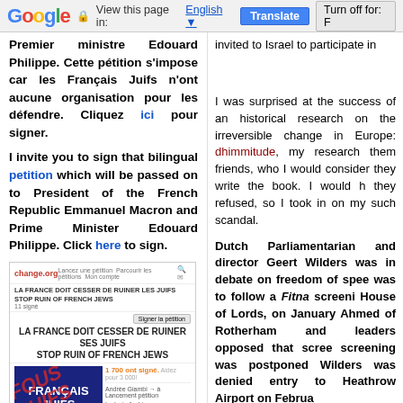Google | View this page in: English | Translate | Turn off for: F
Premier ministre Edouard Philippe. Cette pétition s'impose car les Français Juifs n'ont aucune organisation pour les défendre. Cliquez ici pour signer.
I invite you to sign that bilingual petition which will be passed on to President of the French Republic Emmanuel Macron and Prime Minister Edouard Philippe. Click here to sign.
[Figure (screenshot): Screenshot of a change.org petition page titled 'LA FRANCE DOIT CESSER DE RUINER SES JUIFS / STOP RUIN OF FRENCH JEWS' showing a blue box with text 'FRANÇAIS JUIFS' and a red stamp overlay, with petition sidebar elements.]
invited to Israel to participate in
I was surprised at the success of an historical research on the irreversible change in Europe: dhimmitude, my research then friends, who I would consider they write the book. I would h they refused, so I took in on my such scandal.
Dutch Parliamentarian and director Geert Wilders was in debate on freedom of spee was to follow a Fitna screeni House of Lords, on January Ahmed of Rotherham and leaders opposed that scree screening was postponed Wilders was denied entry to Heathrow Airport on Februa